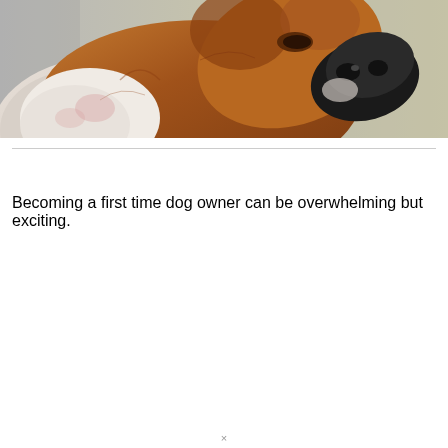[Figure (photo): Close-up photo of a Boxer dog tilting its head upward, showing brown and white fur with a black muzzle, against a blurred outdoor background.]
Becoming a first time dog owner can be overwhelming but exciting.